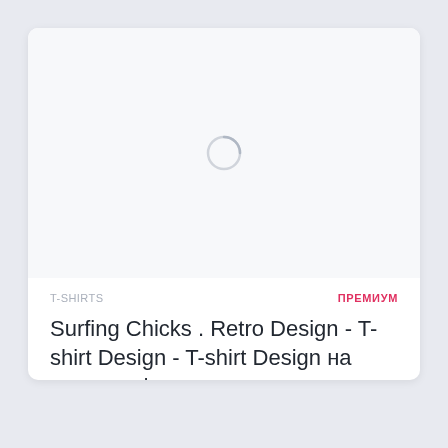[Figure (illustration): Loading spinner circle in a light gray image placeholder area at the top of a product card]
T-SHIRTS
ПРЕМИУМ
Surfing Chicks . Retro Design - T-shirt Design - T-shirt Design на тему графика
T-shirt Design "Surfing Chicks . Retro Design - T-shirt Design" / Surfing Chicks . Retro Design - T-shirt Design ...
Графика
Скачали: 0